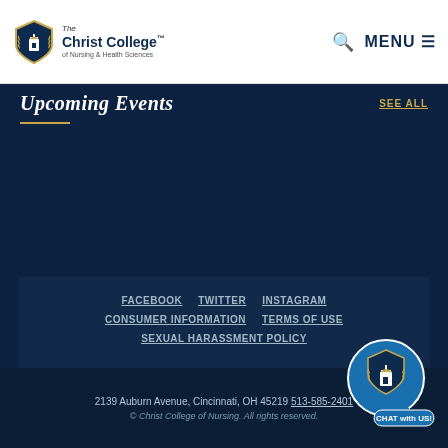[Figure (logo): The Christ College of Nursing & Health Sciences shield logo with text]
MENU ☰
Upcoming Events
SEE ALL
FACEBOOK   TWITTER   INSTAGRAM   CONSUMER INFORMATION   TERMS OF USE   SEXUAL HARASSMENT POLICY
2139 Auburn Avenue, Cincinnati, OH 45219   513-585-2401
© Christ College of Nursing. All rights reserved.